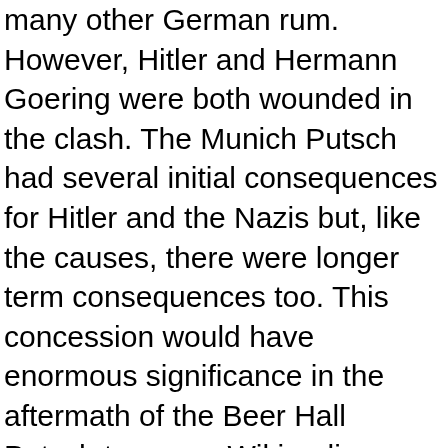many other German rum. However, Hitler and Hermann Goering were both wounded in the clash. The Munich Putsch had several initial consequences for Hitler and the Nazis but, like the causes, there were longer term consequences too. This concession would have enormous significance in the aftermath of the Beer Hall Putsch to come. Wikipedia:[MSM 1] Right, convicted for treason and released after 9 months, makes sense! Spell. Hitler got off lightly as many of the judges were sympathetic to Hitler's ideas. Via History.com Adolf Hitler, president of the far-right Nazi Party, launches the Beer Hall Putsch, his first attempt at seizing control of the German government. Psyop chain programming, think 3/22 (Skull & Bones day) - Brussels 2016-Westminster 2017. Beer Hall Putsch - Beer Hall Putsch - The Munich Putsch: Extremist parties throughout Germany hastened to exploit the chaos. Munich Beer Hall Putsch. 1 portfolio (21 drawings, 1 sheet of text) ; 38 x 50 cm. It became the Nazi's main aim to use elections to win seats in the Reichstag and allow Hitler to